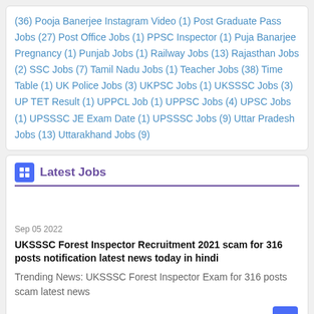(36) Pooja Banerjee Instagram Video (1) Post Graduate Pass Jobs (27) Post Office Jobs (1) PPSC Inspector (1) Puja Banarjee Pregnancy (1) Punjab Jobs (1) Railway Jobs (13) Rajasthan Jobs (2) SSC Jobs (7) Tamil Nadu Jobs (1) Teacher Jobs (38) Time Table (1) UK Police Jobs (3) UKPSC Jobs (1) UKSSSC Jobs (3) UP TET Result (1) UPPCL Job (1) UPPSC Jobs (4) UPSC Jobs (1) UPSSSC JE Exam Date (1) UPSSSC Jobs (9) Uttar Pradesh Jobs (13) Uttarakhand Jobs (9)
Latest Jobs
Sep 05 2022
UKSSSC Forest Inspector Recruitment 2021 scam for 316 posts notification latest news today in hindi
Trending News: UKSSSC Forest Inspector Exam for 316 posts scam latest news
Sep 05 2022